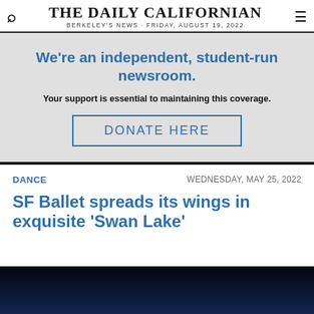THE DAILY CALIFORNIAN · BERKELEY'S NEWS · FRIDAY, AUGUST 19, 2022
We're an independent, student-run newsroom. Your support is essential to maintaining this coverage. DONATE HERE
DANCE
WEDNESDAY, MAY 25, 2022
SF Ballet spreads its wings in exquisite 'Swan Lake'
[Figure (photo): Dark blue-toned photo, presumably of a ballet performance]